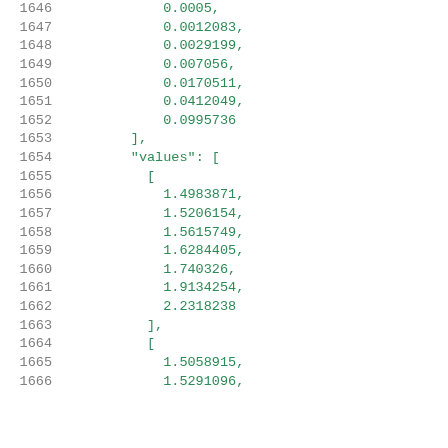Code listing lines 1646-1666 showing numeric array data with values key
1646: 0.0005,
1647: 0.0012083,
1648: 0.0029199,
1649: 0.007056,
1650: 0.0170511,
1651: 0.0412049,
1652: 0.0995736
1653: ],
1654: "values": [
1655: [
1656: 1.4983871,
1657: 1.5206154,
1658: 1.5615749,
1659: 1.6284405,
1660: 1.740326,
1661: 1.9134254,
1662: 2.2318238
1663: ],
1664: [
1665: 1.5058915,
1666: 1.5291096,